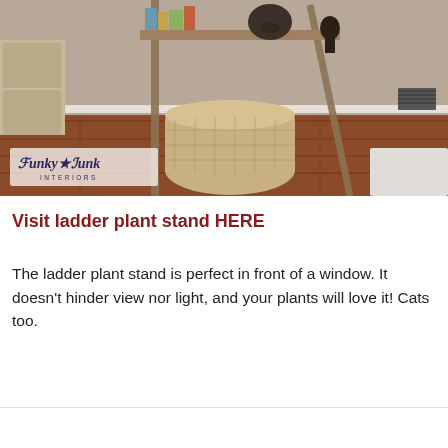[Figure (photo): Interior room photo showing a wooden ladder plant stand with books and decorative items on top, a wicker basket underneath, and hardwood floors. A white Funky Junk Interiors watermark logo is visible in the lower left of the photo.]
Visit ladder plant stand HERE
The ladder plant stand is perfect in front of a window. It doesn't hinder view nor light, and your plants will love it! Cats too.